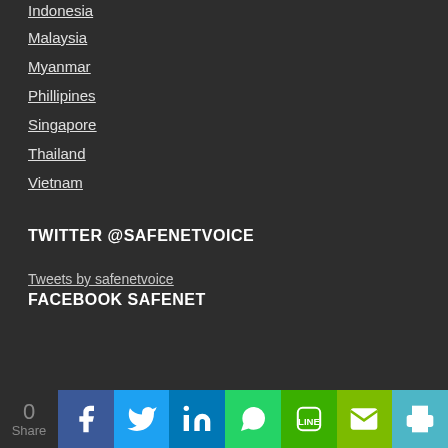Indonesia
Malaysia
Myanmar
Phillipines
Singapore
Thailand
Vietnam
TWITTER @SAFENETVOICE
Tweets by safenetvoice
FACEBOOK SAFENET
0 Share | Facebook | Twitter | LinkedIn | WhatsApp | Line | Email | Print